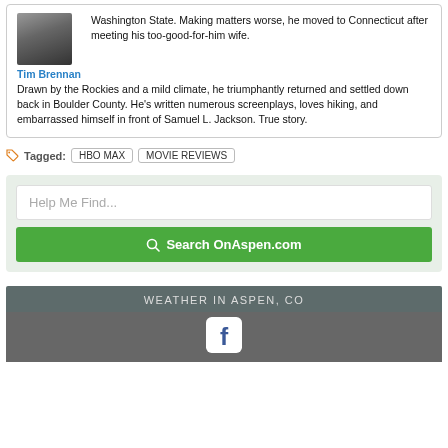[Figure (photo): Headshot photo of Tim Brennan]
Tim Brennan
Washington State. Making matters worse, he moved to Connecticut after meeting his too-good-for-him wife. Drawn by the Rockies and a mild climate, he triumphantly returned and settled down back in Boulder County. He's written numerous screenplays, loves hiking, and embarrassed himself in front of Samuel L. Jackson. True story.
Tagged: HBO MAX   MOVIE REVIEWS
Help Me Find...
Search OnAspen.com
WEATHER IN ASPEN, CO
[Figure (logo): Facebook logo icon white on rounded square]